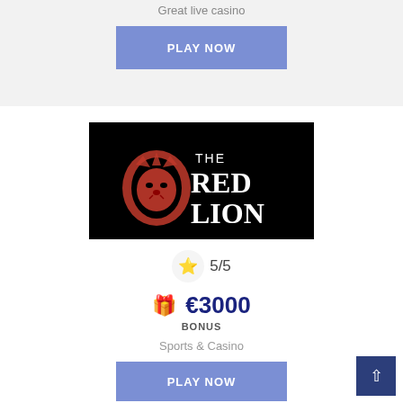Great live casino
PLAY NOW
[Figure (logo): The Red Lion casino logo — red lion illustration on black background with 'THE RED LION' text in white]
5/5
€3000 BONUS
Sports & Casino
PLAY NOW